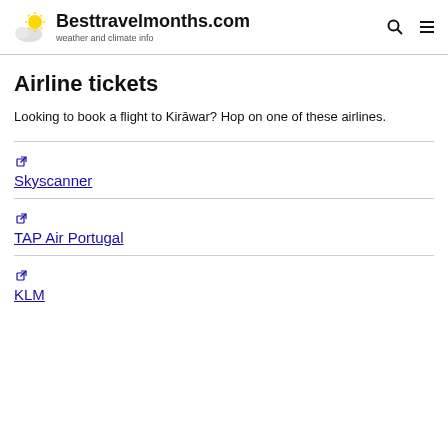Besttravelmonths.com — weather and climate info
Airline tickets
Looking to book a flight to Kirāwar? Hop on one of these airlines.
Skyscanner
TAP Air Portugal
KLM